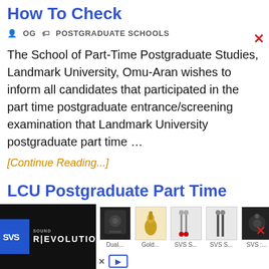How To Check
OG   POSTGRADUATE SCHOOLS
The School of Part-Time Postgraduate Studies, Landmark University, Omu-Aran wishes to inform all candidates that participated in the part time postgraduate entrance/screening examination that Landmark University postgraduate part time …
[Continue Reading...]
LCU Postgraduate Part Time Admission List 2022/2023
[Figure (other): SVS Sound Revolution advertisement banner showing logo and product thumbnails including speakers and cables]